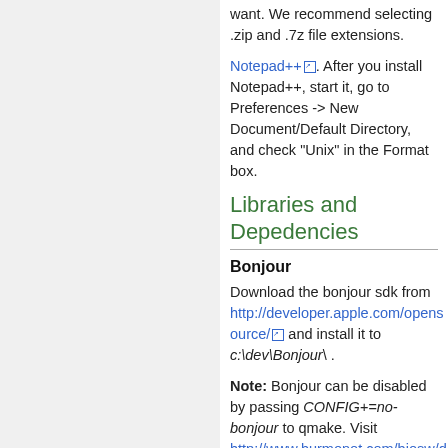want. We recommend selecting .zip and .7z file extensions.
Notepad++. After you install Notepad++, start it, go to Preferences -> New Document/Default Directory, and check "Unix" in the Format box.
Libraries and Depedencies
Bonjour
Download the bonjour sdk from http://developer.apple.com/opensource/ and install it to c:\dev\Bonjour\ .
Note: Bonjour can be disabled by passing CONFIG+=no-bonjour to qmake. Visit http://www.burmonot.com/biosw/d...